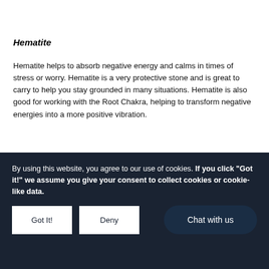Hematite
Hematite helps to absorb negative energy and calms in times of stress or worry. Hematite is a very protective stone and is great to carry to help you stay grounded in many situations. Hematite is also good for working with the Root Chakra, helping to transform negative energies into a more positive vibration.
Honey Calcite
By using this website, you agree to our use of cookies. If you click "Got it!" we assume you give your consent to collect cookies or cookie-like data.
Got It! | Deny | Chat with us